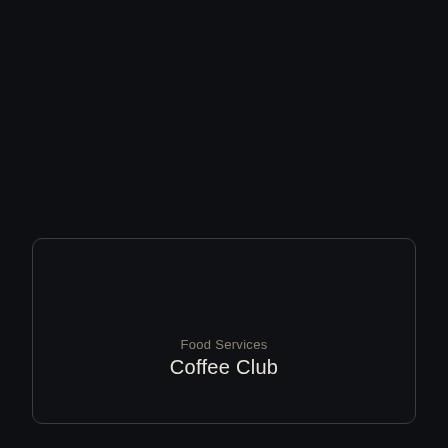[Figure (other): Dark background UI card with text labels 'Food Services' (subtitle, muted) and 'Coffee Club' (title, light colored) centered near bottom of card. The card has a rounded border on a near-black background.]
Food Services
Coffee Club